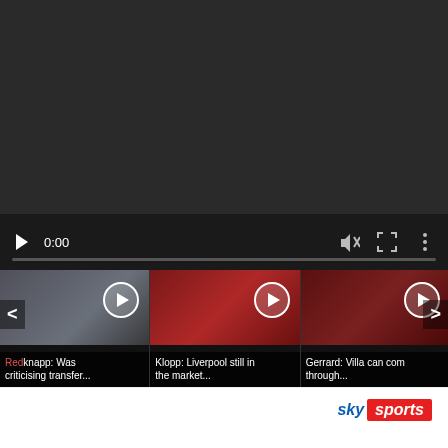[Figure (screenshot): Embedded video player with dark background, play button, timestamp 0:00, mute and fullscreen controls, and a progress bar at the bottom]
[Figure (screenshot): Video thumbnail strip with three clickable video thumbnails: Redknapp criticising transfer..., Klopp: Liverpool still in the market..., Gerrard: Villa can come through...]
[Figure (logo): Sky Sports logo — 'sky' in blue italic and 'sports' in white on red badge]
That changed on Boxing Day with a performance that might have transformed Arsenal's entire season. Smith Rowe helped orchestrate an energetic and youthful victory